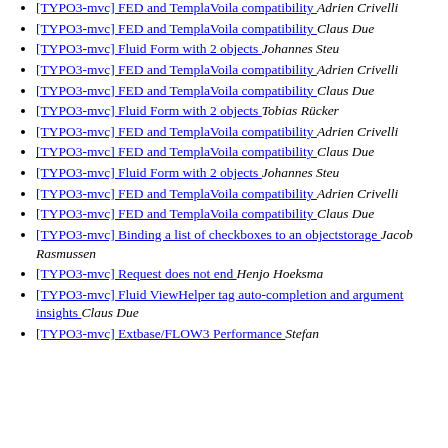[TYPO3-mvc] FED and TemplaVoila compatibility  Adrien Crivelli
[TYPO3-mvc] FED and TemplaVoila compatibility  Claus Due
[TYPO3-mvc] Fluid Form with 2 objects  Johannes Steu
[TYPO3-mvc] FED and TemplaVoila compatibility  Adrien Crivelli
[TYPO3-mvc] FED and TemplaVoila compatibility  Claus Due
[TYPO3-mvc] Fluid Form with 2 objects  Tobias Rücker
[TYPO3-mvc] FED and TemplaVoila compatibility  Adrien Crivelli
[TYPO3-mvc] FED and TemplaVoila compatibility  Claus Due
[TYPO3-mvc] Fluid Form with 2 objects  Johannes Steu
[TYPO3-mvc] FED and TemplaVoila compatibility  Adrien Crivelli
[TYPO3-mvc] FED and TemplaVoila compatibility  Claus Due
[TYPO3-mvc] Binding a list of checkboxes to an objectstorage  Jacob Rasmussen
[TYPO3-mvc] Request does not end  Henjo Hoeksma
[TYPO3-mvc] Fluid ViewHelper tag auto-completion and argument insights  Claus Due
[TYPO3-mvc] Extbase/FLOW3 Performance  Stefan